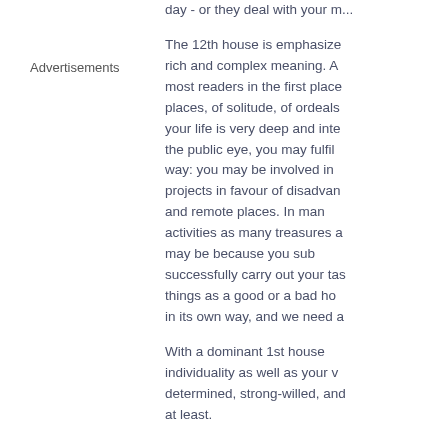day - or they deal with your m...
The 12th house is emphasize... rich and complex meaning. A... most readers in the first place... places, of solitude, of ordeals... your life is very deep and inte... the public eye, you may fulfil... way: you may be involved in... projects in favour of disadvan... and remote places. In man... activities as many treasures a... may be because you sub... successfully carry out your tas... things as a good or a bad ho... in its own way, and we need a...
With a dominant 1st house... individuality as well as your v... determined, strong-willed, and... at least.
Advertisements